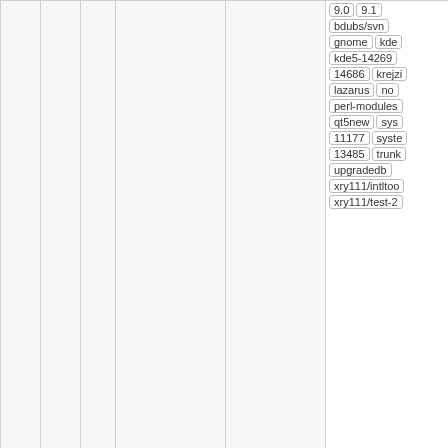|  |  |  |  |  |  |
| --- | --- | --- | --- | --- | --- |
|  |  |  |  |  | 9.0 | 9.1 | bdubs/svn | gnome | kde | kde5-14269 | 14686 | krejzi | lazarus | no | perl-modules | qt5new | sys | 11177 | syste | 13485 | trunk | upgradedb | xry111/intltoo | xry111/test-2 |
|  |  |  |  |  | Changed Lib links to the i version of Li git-svn-id: ... 10.1 | 11.0 | 11.2 | 6.2 | 6.2.0-rc1 | 6 | 6.3 | 6.3-rc1 | rc2 | 6.3-rc3 | 7.4 | 7.5 | 7 | 7.6-blfs | 7.6 | systemd | 7.7 | 7.9 | 8.0 | 8 | 8.2 | 8.3 | 8 | 9.0 | 9.1 | bdubs/svn |
Changed Lib links to the i version of Li git-svn-id: ...
@fcd6bf9d  17 years  randy